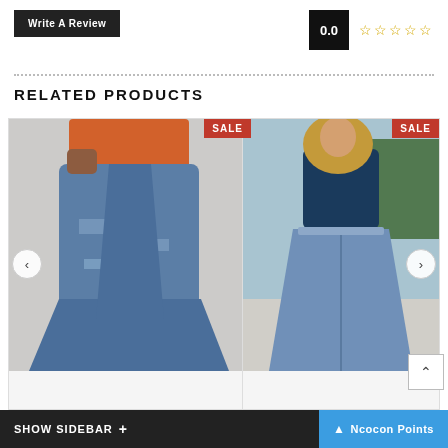Write A Review
0.0
☆☆☆☆☆
RELATED PRODUCTS
[Figure (photo): Woman wearing ripped flare jeans standing against a brick wall, with a red SALE badge in the top-right corner]
[Figure (photo): Woman wearing wide-leg denim jeans outdoors, with a red SALE badge in the top-right corner]
SHOW SIDEBAR +
Ncocon Points